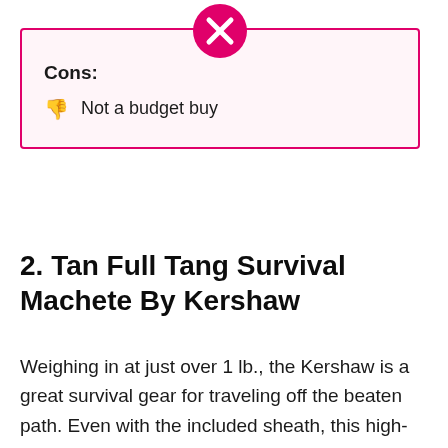Cons:
Not a budget buy
2. Tan Full Tang Survival Machete By Kershaw
Weighing in at just over 1 lb., the Kershaw is a great survival gear for traveling off the beaten path. Even with the included sheath, this high-quality machete is light enough to take